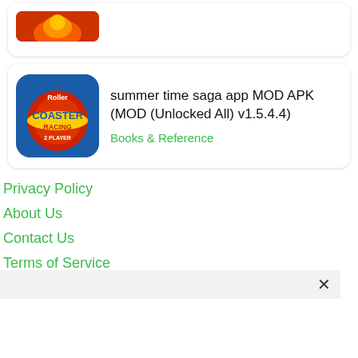[Figure (screenshot): App listing card (partial, top) showing a game icon with fire/flames]
[Figure (screenshot): App listing card for 'summer time saga app MOD APK (MOD (Unlocked All) v1.5.4.4)' with Roller Coaster Racing app icon and Books & Reference category label]
summer time saga app MOD APK (MOD (Unlocked All) v1.5.4.4)
Books & Reference
Privacy Policy
About Us
Contact Us
Terms of Service